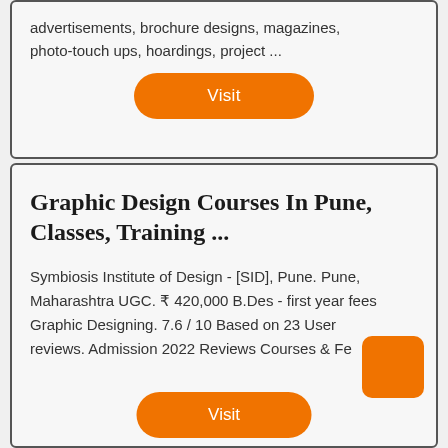advertisements, brochure designs, magazines, photo-touch ups, hoardings, project ...
Visit
Graphic Design Courses In Pune, Classes, Training ...
Symbiosis Institute of Design - [SID], Pune. Pune, Maharashtra UGC. ₹ 420,000 B.Des - first year fees Graphic Designing. 7.6 / 10 Based on 23 User reviews. Admission 2022 Reviews Courses & Fe
Visit